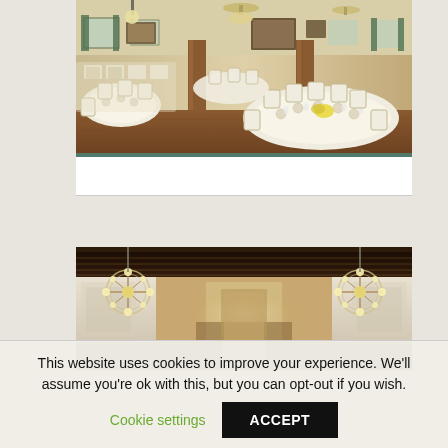[Figure (photo): Interior of a banquet hall set for an event, with round tables covered in white tablecloths, white-covered chairs, wooden pillars, chandeliers, and large windows with green curtains.]
[Figure (photo): Interior corridor or hall of a venue with dark wooden beam ceiling, white walls, ornate chandeliers on both sides, and decorative elements along the walls.]
This website uses cookies to improve your experience. We'll assume you're ok with this, but you can opt-out if you wish.
Cookie settings
ACCEPT